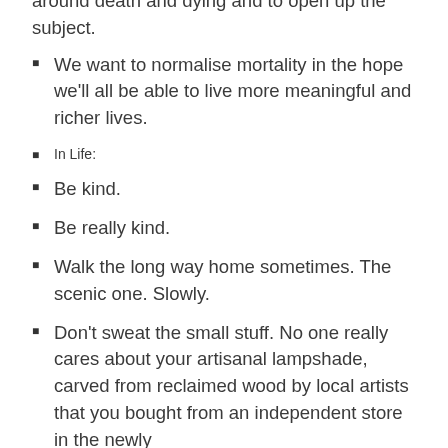around death and dying and to open up the subject.
We want to normalise mortality in the hope we'll all be able to live more meaningful and richer lives.
In Life:
Be kind.
Be really kind.
Walk the long way home sometimes. The scenic one. Slowly.
Don't sweat the small stuff. No one really cares about your artisanal lampshade, carved from reclaimed wood by local artists that you bought from an independent store in the newly